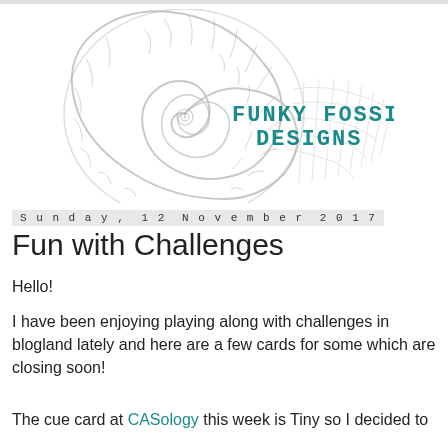[Figure (logo): Funky Fossil Designs blog logo featuring a large spiral ammonite fossil illustration in grey/silver tones with the text FUNKY FOSSIL DESIGNS in teal/dark cyan typewriter-style font overlaid on the right side]
Sunday, 12 November 2017
Fun with Challenges
Hello!
I have been enjoying playing along with challenges in blogland lately and here are a few cards for some which are closing soon!
The cue card at CASology this week is Tiny so I decided to